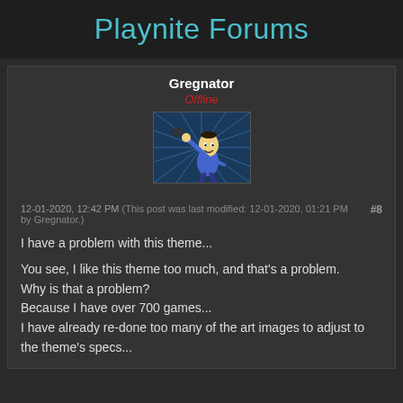Playnite Forums
Gregnator
Offline
[Figure (illustration): Avatar image showing a Vault Boy character from Fallout throwing something, with a blue radial burst background]
12-01-2020, 12:42 PM (This post was last modified: 12-01-2020, 01:21 PM by Gregnator.)  #8
I have a problem with this theme...
You see, I like this theme too much, and that's a problem.
Why is that a problem?
Because I have over 700 games...
I have already re-done too many of the art images to adjust to the theme's specs...